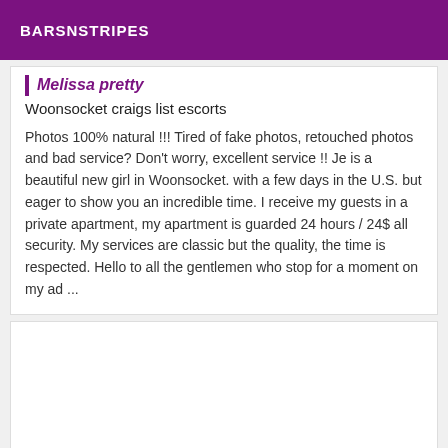BARSNSTRIPES
Melissa pretty
Woonsocket craigs list escorts
Photos 100% natural !!! Tired of fake photos, retouched photos and bad service? Don't worry, excellent service !! Je is a beautiful new girl in Woonsocket. with a few days in the U.S. but eager to show you an incredible time. I receive my guests in a private apartment, my apartment is guarded 24 hours / 24$ all security. My services are classic but the quality, the time is respected. Hello to all the gentlemen who stop for a moment on my ad ...